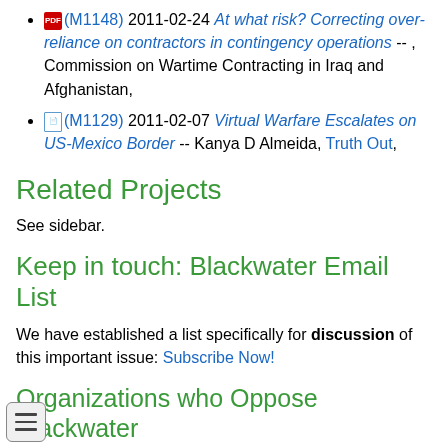(M1148) 2011-02-24 At what risk? Correcting over-reliance on contractors in contingency operations -- , Commission on Wartime Contracting in Iraq and Afghanistan,
(M1129) 2011-02-07 Virtual Warfare Escalates on US-Mexico Border -- Kanya D Almeida, Truth Out,
Related Projects
See sidebar.
Keep in touch: Blackwater Email List
We have established a list specifically for discussion of this important issue: Subscribe Now!
Organizations who Oppose Blackwater
Stop Blackwater Organizations - Add your organization to this list... Let us know how you can help!